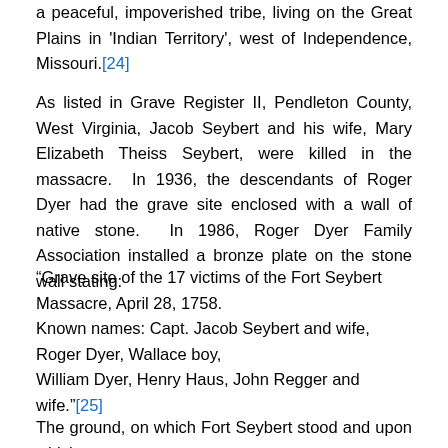a peaceful, impoverished tribe, living on the Great Plains in 'Indian Territory', west of Independence, Missouri.[24]
As listed in Grave Register II, Pendleton County, West Virginia, Jacob Seybert and his wife, Mary Elizabeth Theiss Seybert, were killed in the massacre. In 1936, the descendants of Roger Dyer had the grave site enclosed with a wall of native stone. In 1986, Roger Dyer Family Association installed a bronze plate on the stone wall stating:
“Grave site of the 17 victims of the Fort Seybert Massacre, April 28, 1758.
Known names: Capt. Jacob Seybert and wife, Roger Dyer, Wallace boy,
William Dyer, Henry Haus, John Regger and wife.”[25]
The ground, on which Fort Seybert stood and upon which